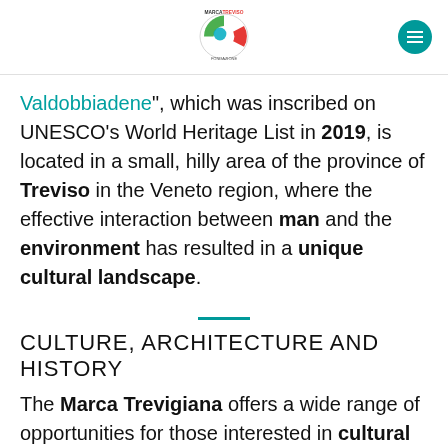Marca Treviso Fondazione [logo + hamburger menu]
Valdobbiadene", which was inscribed on UNESCO's World Heritage List in 2019, is located in a small, hilly area of the province of Treviso in the Veneto region, where the effective interaction between man and the environment has resulted in a unique cultural landscape.
CULTURE, ARCHITECTURE AND HISTORY
The Marca Trevigiana offers a wide range of opportunities for those interested in cultural